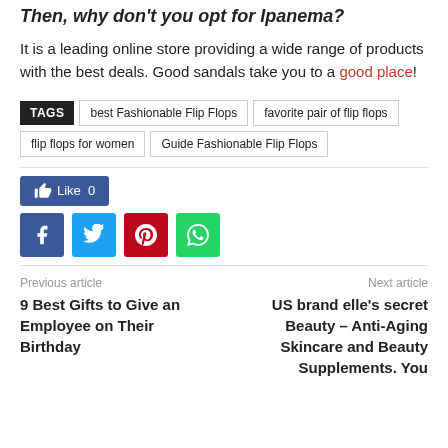Then, why don't you opt for Ipanema?
It is a leading online store providing a wide range of products with the best deals. Good sandals take you to a good place!
TAGS: best Fashionable Flip Flops | favorite pair of flip flops | flip flops for women | Guide Fashionable Flip Flops
[Figure (other): Like button (0 likes) and social share buttons: Facebook, Twitter, Pinterest, WhatsApp]
Previous article: 9 Best Gifts to Give an Employee on Their Birthday | Next article: US brand elle's secret Beauty – Anti-Aging Skincare and Beauty Supplements. You